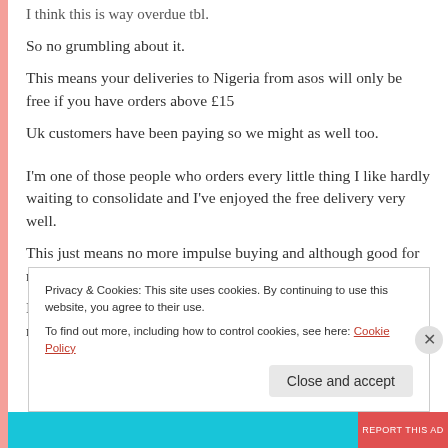I think this is way overdue tbl.
So no grumbling about it.
This means your deliveries to Nigeria from asos will only be free if you have orders above £15
Uk customers have been paying so we might as well too.
I'm one of those people who orders every little thing I like hardly waiting to consolidate and I've enjoyed the free delivery very well.
This just means no more impulse buying and although good for me I don't know how it will work out for them.
I got some orders overdue so i went in on the site to check and noticed I was charged as far back as June 6th.
Privacy & Cookies: This site uses cookies. By continuing to use this website, you agree to their use. To find out more, including how to control cookies, see here: Cookie Policy
Close and accept